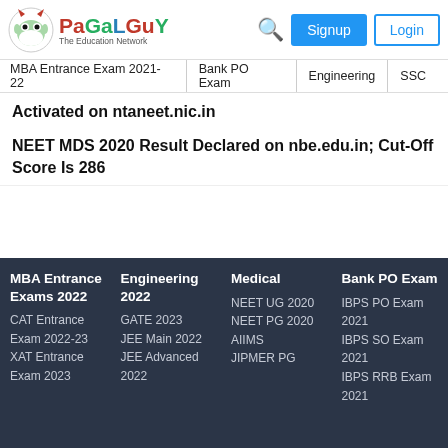[Figure (logo): PaGaLGuY The Education Network logo with mascot]
MBA Entrance Exam 2021-22   Bank PO Exam   Engineering   SSC
Activated on ntaneet.nic.in
NEET MDS 2020 Result Declared on nbe.edu.in; Cut-Off Score Is 286
MBA Entrance Exams 2022 | Engineering 2022 | Medical | Bank PO Exam
CAT Entrance Exam 2022-23 | GATE 2023 | NEET UG 2020 | IBPS PO Exam 2021
XAT Entrance Exam 2023 | JEE Main 2022 | NEET PG 2020 | IBPS SO Exam 2021
| JEE Advanced 2022 | AIIMS | IBPS RRB Exam 2021
| | JIPMER PG |